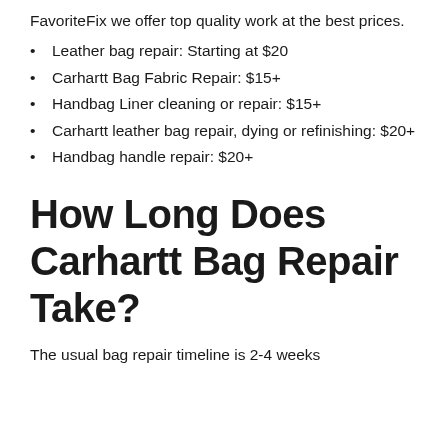FavoriteFix we offer top quality work at the best prices.
Leather bag repair: Starting at $20
Carhartt Bag Fabric Repair: $15+
Handbag Liner cleaning or repair: $15+
Carhartt leather bag repair, dying or refinishing: $20+
Handbag handle repair: $20+
How Long Does Carhartt Bag Repair Take?
The usual bag repair timeline is 2-4 weeks